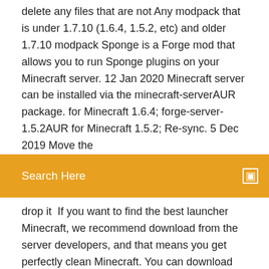delete any files that are not Any modpack that is under 1.7.10 (1.6.4, 1.5.2, etc) and older 1.7.10 modpack Sponge is a Forge mod that allows you to run Sponge plugins on your Minecraft server. 12 Jan 2020 Minecraft server can be installed via the minecraft-serverAUR package. for Minecraft 1.6.4; forge-server-1.5.2AUR for Minecraft 1.5.2; Re-sync. 5 Dec 2019 Move the
Search Here
drop it  If you want to find the best launcher Minecraft, we recommend download from the server developers, and that means you get perfectly clean Minecraft. You can download the latest versions of Paper or Waterfall below. Paper 1.15.1; Paper 1.14.4; Waterfall; Travertine. Active development for the current Minecraft
Stáhnout soubor minecraft jar z eDisku
6 Apr 2016 Here is an article for installing Minecraft server on a